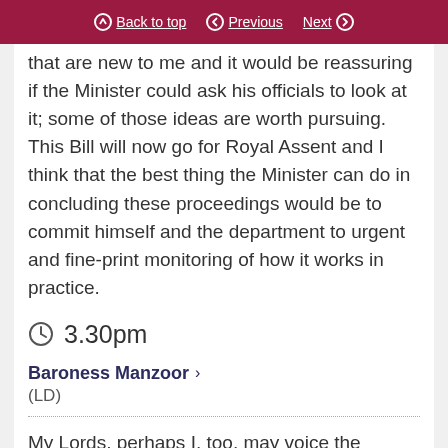Back to top | Previous | Next
that are new to me and it would be reassuring if the Minister could ask his officials to look at it; some of those ideas are worth pursuing. This Bill will now go for Royal Assent and I think that the best thing the Minister can do in concluding these proceedings would be to commit himself and the department to urgent and fine-print monitoring of how it works in practice.
3.30pm
Baroness Manzoor (LD)
My Lords, perhaps I, too, may voice the disappointment that has already been expressed by